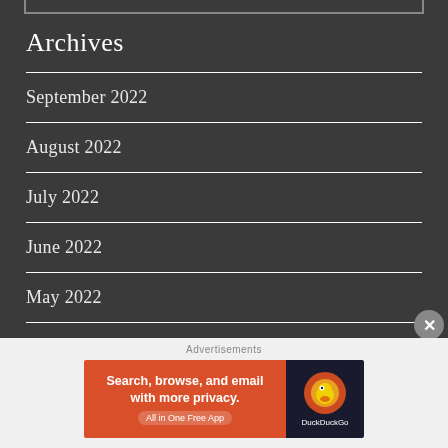Archives
September 2022
August 2022
July 2022
June 2022
May 2022
April 2022
[Figure (infographic): DuckDuckGo advertisement banner: 'Search, browse, and email with more privacy. All in One Free App' with DuckDuckGo logo on dark background]